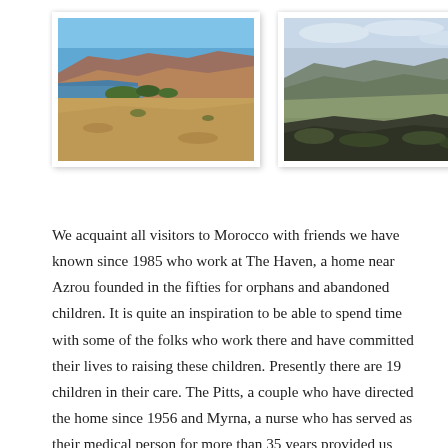[Figure (photo): Two landscape photos of arid Moroccan terrain. Left photo shows a reservoir or lake with red-brown hills and sparse vegetation. Right photo shows a panoramic valley view with layered hills and sparse trees.]
We acquaint all visitors to Morocco with friends we have known since 1985 who work at The Haven, a home near Azrou founded in the fifties for orphans and abandoned children. It is quite an inspiration to be able to spend time with some of the folks who work there and have committed their lives to raising these children. Presently there are 19 children in their care. The Pitts, a couple who have directed the home since 1956 and Myrna, a nurse who has served as their medical person for more than 35 years provided us with mint tea and pastries as they